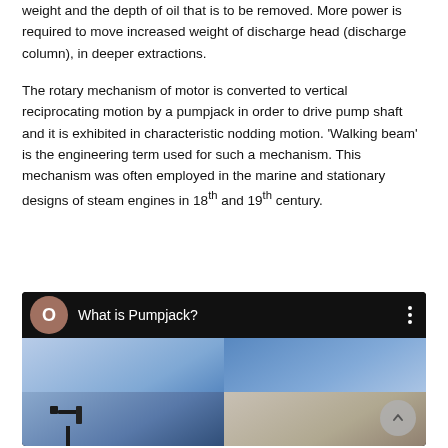weight and the depth of oil that is to be removed. More power is required to move increased weight of discharge head (discharge column), in deeper extractions.
The rotary mechanism of motor is converted to vertical reciprocating motion by a pumpjack in order to drive pump shaft and it is exhibited in characteristic nodding motion. 'Walking beam' is the engineering term used for such a mechanism. This mechanism was often employed in the marine and stationary designs of steam engines in 18th and 19th century.
[Figure (screenshot): Video thumbnail/screenshot of a YouTube-style video titled 'What is Pumpjack?' with a dark header bar showing an avatar with 'O', the title text, and a three-dot menu. Below is a 2x2 grid of thumbnail images showing pumpjacks against blue sky.]